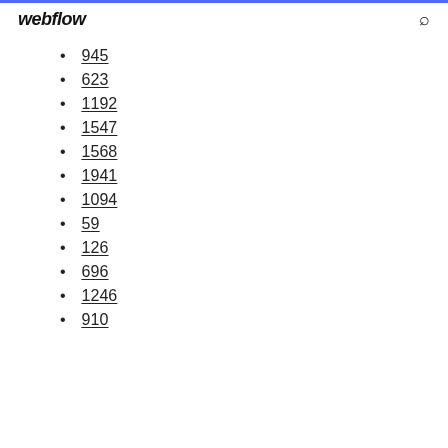webflow
945
623
1192
1547
1568
1941
1094
59
126
696
1246
910